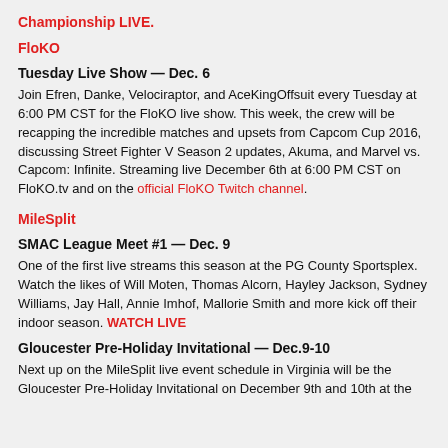Championship LIVE.
FloKO
Tuesday Live Show — Dec. 6
Join Efren, Danke, Velociraptor, and AceKingOffsuit every Tuesday at 6:00 PM CST for the FloKO live show. This week, the crew will be recapping the incredible matches and upsets from Capcom Cup 2016, discussing Street Fighter V Season 2 updates, Akuma, and Marvel vs. Capcom: Infinite. Streaming live December 6th at 6:00 PM CST on FloKO.tv and on the official FloKO Twitch channel.
MileSplit
SMAC League Meet #1 — Dec. 9
One of the first live streams this season at the PG County Sportsplex. Watch the likes of Will Moten, Thomas Alcorn, Hayley Jackson, Sydney Williams, Jay Hall, Annie Imhof, Mallorie Smith and more kick off their indoor season. WATCH LIVE
Gloucester Pre-Holiday Invitational — Dec.9-10
Next up on the MileSplit live event schedule in Virginia will be the Gloucester Pre-Holiday Invitational on December 9th and 10th at the ...